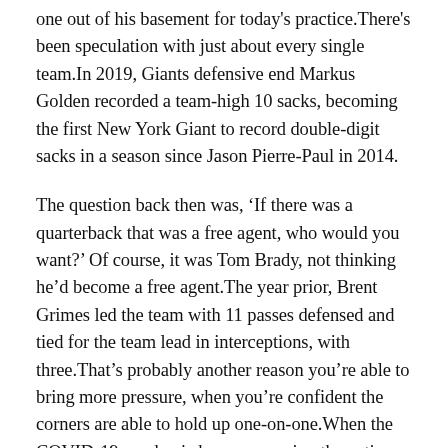one out of his basement for today's practice.There's been speculation with just about every single team.In 2019, Giants defensive end Markus Golden recorded a team-high 10 sacks, becoming the first New York Giant to record double-digit sacks in a season since Jason Pierre-Paul in 2014.
The question back then was, ‘If there was a quarterback that was a free agent, who would you want?’ Of course, it was Tom Brady, not thinking he’d become a free agent.The year prior, Brent Grimes led the team with 11 passes defensed and tied for the team lead in interceptions, with three.That’s probably another reason you’re able to bring more pressure, when you’re confident the corners are able to hold up one-on-one.When the COVID-19 pandemic began sweeping the nation, Evans jumped in to help, committing $100 from the Mike Evans Family Foundation to support United